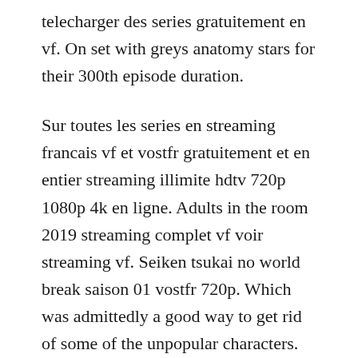telecharger des series gratuitement en vf. On set with greys anatomy stars for their 300th episode duration.
Sur toutes les series en streaming francais vf et vostfr gratuitement et en entier streaming illimite hdtv 720p 1080p 4k en ligne. Adults in the room 2019 streaming complet vf voir streaming vf. Seiken tsukai no world break saison 01 vostfr 720p. Which was admittedly a good way to get rid of some of the unpopular characters. Towards the end of the season a typical grey s exploration of